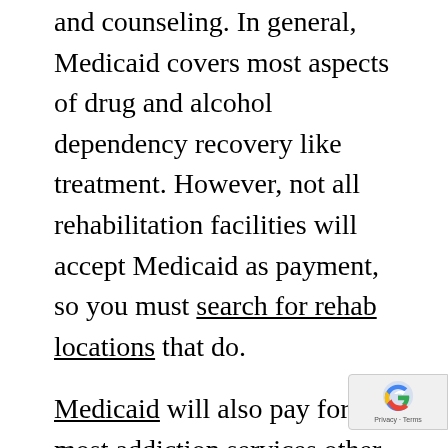and counseling. In general, Medicaid covers most aspects of drug and alcohol dependency recovery like treatment. However, not all rehabilitation facilities will accept Medicaid as payment, so you must search for rehab locations that do.
Medicaid will also pay for most addiction services other than alcohol treatment. You usually do not have any co-payments for addiction services in most states. However, some states mandate co-payments but set an out-of-pocket maximum. Coverage can include initial screenings, intervention, medications, counseling, detox, inpatient care and outpatient visits.